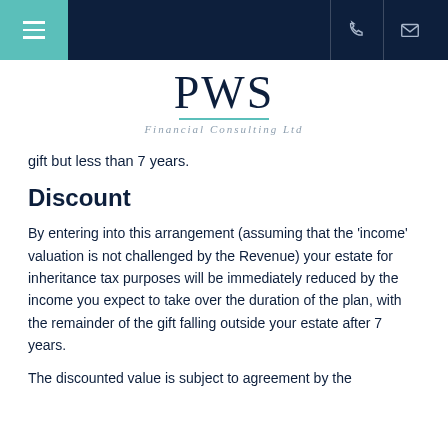PWS Financial Consulting Ltd
gift but less than 7 years.
Discount
By entering into this arrangement (assuming that the 'income' valuation is not challenged by the Revenue) your estate for inheritance tax purposes will be immediately reduced by the income you expect to take over the duration of the plan, with the remainder of the gift falling outside your estate after 7 years.
The discounted value is subject to agreement by the